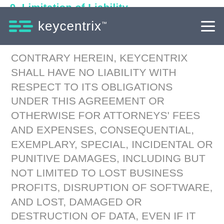9. Limitation of Liability
keycentrix
CONTRARY HEREIN, KEYCENTRIX SHALL HAVE NO LIABILITY WITH RESPECT TO ITS OBLIGATIONS UNDER THIS AGREEMENT OR OTHERWISE FOR ATTORNEYS' FEES AND EXPENSES, CONSEQUENTIAL, EXEMPLARY, SPECIAL, INCIDENTAL OR PUNITIVE DAMAGES, INCLUDING BUT NOT LIMITED TO LOST BUSINESS PROFITS, DISRUPTION OF SOFTWARE, AND LOST, DAMAGED OR DESTRUCTION OF DATA, EVEN IF IT HAS BEEN ADVISED OF THE POSSIBILITY OF SUCH DAMAGES. EXCEPT IN THE EVENT OF KEYCENTRIX'S GROSS NEGLIGENCE OR WILLFUL MISCONDUCT, THE LIABILITY OF KEYCENTRIX TO CUSTOMER FOR ANY REASON